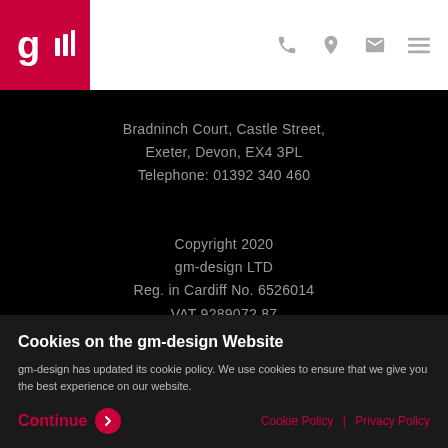[Figure (logo): gm-design logo: stylized 'g' and 'III' in white on crimson background, header navigation icons (phone, location pin, envelope, hamburger menu) in grey]
Bradninch Court, Castle Street,
Exeter, Devon, EX4 3PL
Telephone: 01392 340 460
Copyright 2020
gm-design LTD
Reg. in Cardiff No. 6526014
VAT 9289072 87
Cookie Policy  |  Privacy Policy
Our Services
BRANDING
Cookies on the gm-design Website
gm-design has updated its cookie policy. We use cookies to ensure that we give you the best experience on our website.
Continue
Cookie Policy  |  Privacy Policy